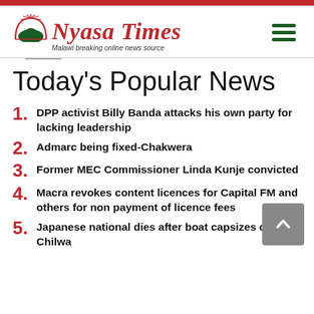[Figure (logo): Nyasa Times logo with red arc/dome icon and text 'Nyasa Times — Malawi breaking online news source']
Today's Popular News
1. DPP activist Billy Banda attacks his own party for lacking leadership
2. Admarc being fixed-Chakwera
3. Former MEC Commissioner Linda Kunje convicted
4. Macra revokes content licences for Capital FM and others for non payment of licence fees
5. Japanese national dies after boat capsizes on Lake Chilwa